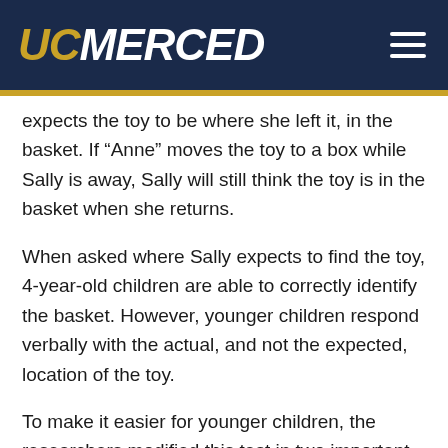UC MERCED
expects the toy to be where she left it, in the basket. If “Anne” moves the toy to a box while Sally is away, Sally will still think the toy is in the basket when she returns.
When asked where Sally expects to find the toy, 4-year-old children are able to correctly identify the basket. However, younger children respond verbally with the actual, and not the expected, location of the toy.
To make it easier for younger children, the researchers modified this test in two important